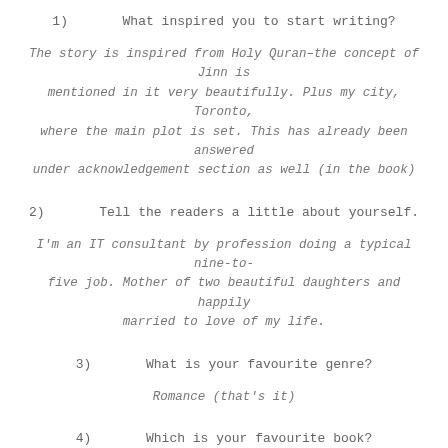1)      What inspired you to start writing?
The story is inspired from Holy Quran–the concept of Jinn is mentioned in it very beautifully. Plus my city, Toronto, where the main plot is set. This has already been answered under acknowledgement section as well (in the book)
2)      Tell the readers a little about yourself.
I'm an IT consultant by profession doing a typical nine-to-five job. Mother of two beautiful daughters and happily married to love of my life.
3)      What is your favourite genre?
Romance (that's it)
4)      Which is your favourite book?
That's a long list if I start counting them from age 11 as